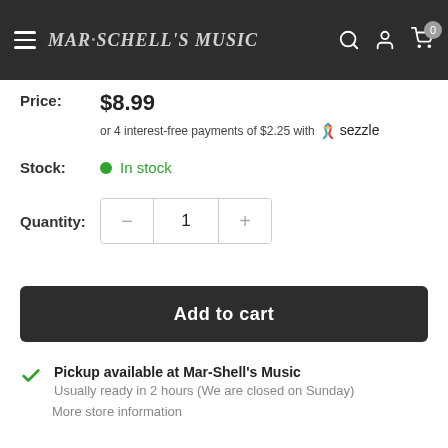Mar-Schell's Music
Price: $8.99
or 4 interest-free payments of $2.25 with Sezzle
Stock: In stock
Quantity: 1
Add to cart
Pickup available at Mar-Shell's Music
Usually ready in 2 hours (We are closed on Sunday)
More store information